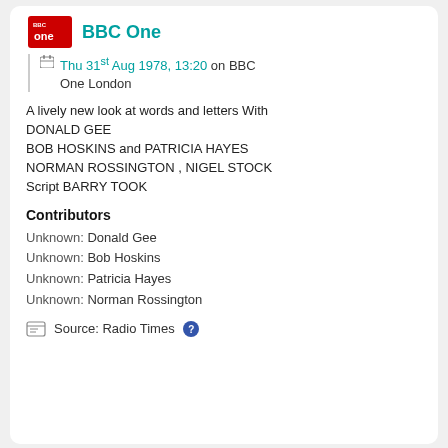[Figure (logo): BBC One red logo with 'one' text]
BBC One
Thu 31st Aug 1978, 13:20 on BBC One London
A lively new look at words and letters With DONALD GEE
BOB HOSKINS and PATRICIA HAYES
NORMAN ROSSINGTON , NIGEL STOCK
Script BARRY TOOK
Contributors
Unknown:  Donald Gee
Unknown:  Bob Hoskins
Unknown:  Patricia Hayes
Unknown:  Norman Rossington
Source: Radio Times